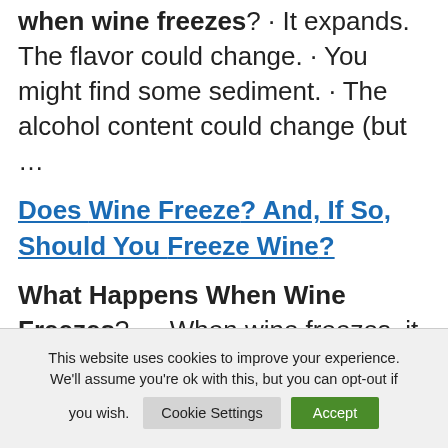when wine freezes? · It expands. The flavor could change. · You might find some sediment. · The alcohol content could change (but ...
Does Wine Freeze? And, If So, Should You Freeze Wine?
What Happens When Wine Freezes? ... When wine freezes, it expands. Just like any other liquid. But wine, to prevent oxidation, is sealed in bottles. That means ...
This website uses cookies to improve your experience. We'll assume you're ok with this, but you can opt-out if you wish. Cookie Settings Accept